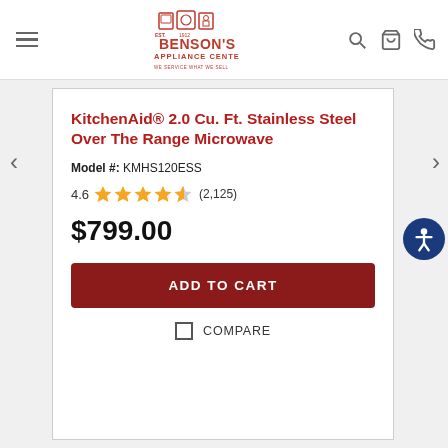Benson's Appliance Center
KitchenAid® 2.0 Cu. Ft. Stainless Steel Over The Range Microwave
Model #: KMHS120ESS
4.6 ★★★★½ (2,125)
$799.00
ADD TO CART
COMPARE